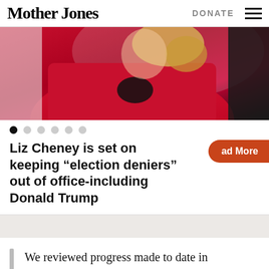Mother Jones | DONATE
[Figure (photo): Woman in red jacket, partially visible, cropped news photo]
Liz Cheney is set on keeping “election deniers” out of office-including Donald Trump
We reviewed progress made to date in identifying inefficient fossil fuel subsidies that encourage wasteful consumption and we agree to continue working to develop voluntary, member-specific approaches for the